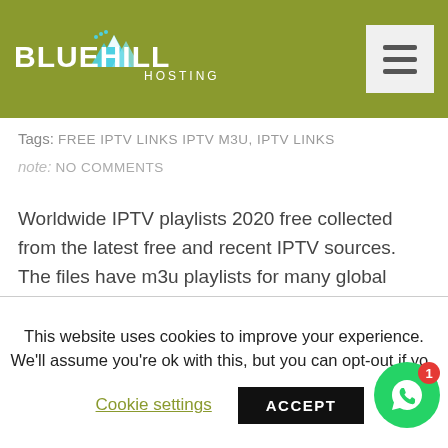BLUEHILL HOSTING
Tags: FREE IPTV LINKS IPTV M3U, IPTV LINKS
note: NO COMMENTS
Worldwide IPTV playlists 2020 free collected from the latest free and recent IPTV sources. The files have m3u playlists for many global channels. Anyone access these downloads from on (www.alliptvlinks.com). Theses are updated daily for free. Free IPTV worldwide has channel list for 2020 download, latest free and recent IPTV 2020, free IPTV worldwide, IPTV [...]
This website uses cookies to improve your experience. We'll assume you're ok with this, but you can opt-out if you
Cookie settings
ACCEPT